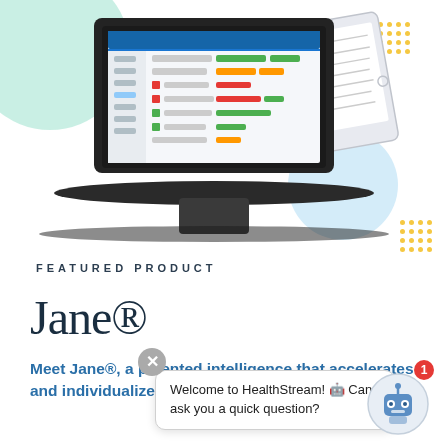[Figure (illustration): Decorative illustration showing a laptop computer displaying a HealthStream interface with colored bar indicators, a tablet document in the upper right, a mint green circle in the upper left, a light blue circle in the center right, and yellow dot patterns in the upper right and right side.]
FEATURED PRODUCT
Jane®
Meet Jane®, a patented intelligence that accelerates and individualizes competency development
Welcome to HealthStream! 🤖 Can I ask you a quick question?